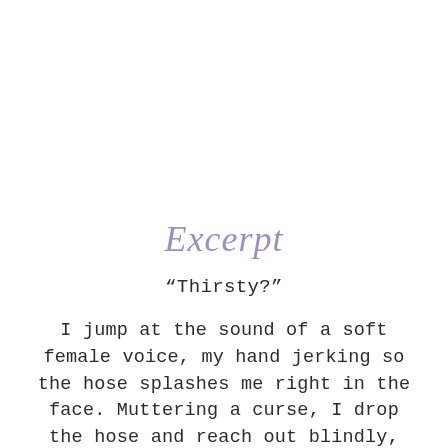Excerpt
“Thirsty?”
I jump at the sound of a soft female voice, my hand jerking so the hose splashes me right in the face. Muttering a curse, I drop the hose and reach out blindly, wrenching the faucet off with one hand as I